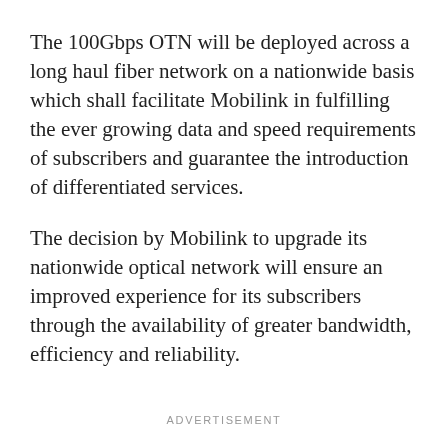The 100Gbps OTN will be deployed across a long haul fiber network on a nationwide basis which shall facilitate Mobilink in fulfilling the ever growing data and speed requirements of subscribers and guarantee the introduction of differentiated services.
The decision by Mobilink to upgrade its nationwide optical network will ensure an improved experience for its subscribers through the availability of greater bandwidth, efficiency and reliability.
ADVERTISEMENT